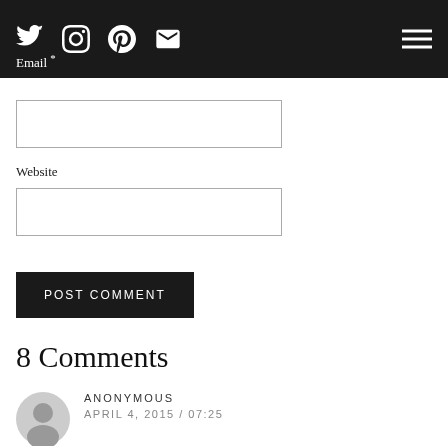Social icons and navigation header bar
Email *
Website
POST COMMENT
8 Comments
ANONYMOUS
APRIL 4, 2015 / 07:25
"Needless to say, the paint did not take to the idea of aging well. Worse than Meg Ryan and Madonna in fact."
LOL!!! I love how you write!! You've managed to make a boring subject like painting interesting. And you're reminding me to paint our back door. I really